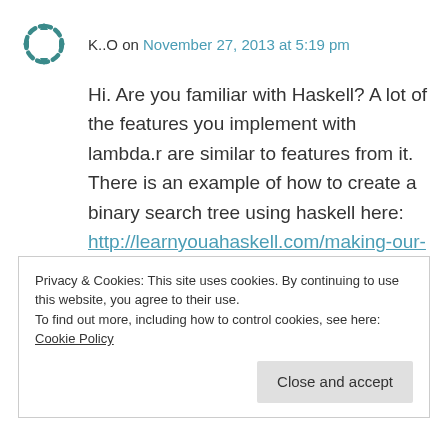K..O on November 27, 2013 at 5:19 pm
Hi. Are you familiar with Haskell? A lot of the features you implement with lambda.r are similar to features from it. There is an example of how to create a binary search tree using haskell here: http://learnyouahaskell.com/making-our-own-types-and-typeclasses (its halfway down the page) Do you think it would be possible to implement a BST in a similar manner using R?
Privacy & Cookies: This site uses cookies. By continuing to use this website, you agree to their use.
To find out more, including how to control cookies, see here: Cookie Policy